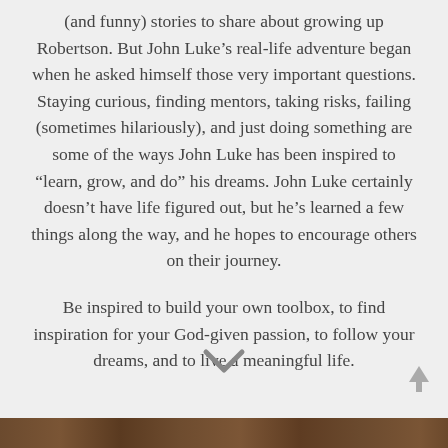(and funny) stories to share about growing up Robertson. But John Luke's real-life adventure began when he asked himself those very important questions. Staying curious, finding mentors, taking risks, failing (sometimes hilariously), and just doing something are some of the ways John Luke has been inspired to “learn, grow, and do” his dreams. John Luke certainly doesn’t have life figured out, but he’s learned a few things along the way, and he hopes to encourage others on their journey.
Be inspired to build your own toolbox, to find inspiration for your God-given passion, to follow your dreams, and to live a meaningful life.